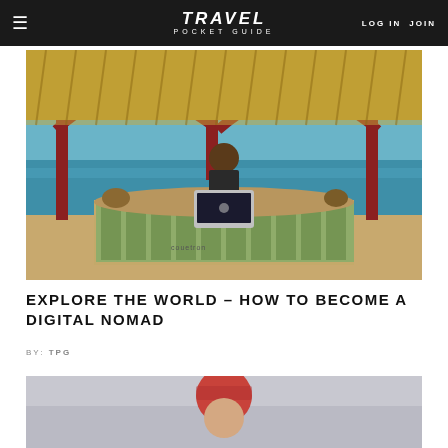TRAVEL POCKET GUIDE  LOG IN  JOIN
[Figure (photo): Person sitting behind a rustic green wooden beach bar counter with thatched roof, working on a laptop with blue ocean and clear sky in the background. Sign reads 'couetron' on the bar.]
EXPLORE THE WORLD – HOW TO BECOME A DIGITAL NOMAD
BY: TPG
[Figure (photo): Partial view of a person wearing a red/burgundy beanie hat with a blurred winter/outdoor background.]